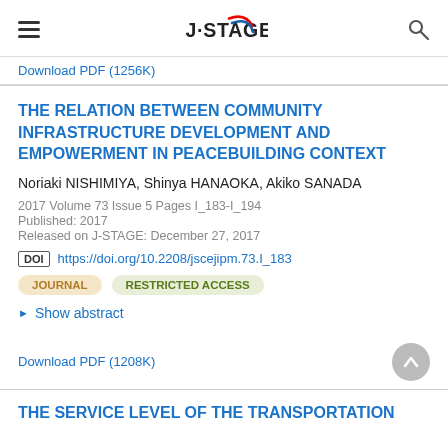J-STAGE
Download PDF (1256K)
THE RELATION BETWEEN COMMUNITY INFRASTRUCTURE DEVELOPMENT AND EMPOWERMENT IN PEACEBUILDING CONTEXT
Noriaki NISHIMIYA, Shinya HANAOKA, Akiko SANADA
2017 Volume 73 Issue 5 Pages I_183-I_194
Published: 2017
Released on J-STAGE: December 27, 2017
DOI https://doi.org/10.2208/jscejipm.73.I_183
JOURNAL   RESTRICTED ACCESS
Show abstract
Download PDF (1208K)
THE SERVICE LEVEL OF THE TRANSPORTATION